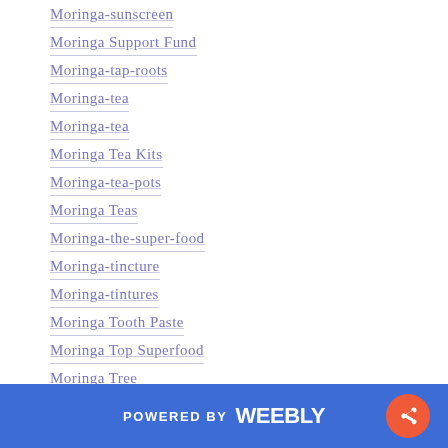Moringa-sunscreen
Moringa Support Fund
Moringa-tap-roots
Moringa-tea
Moringa-tea
Moringa Tea Kits
Moringa-tea-pots
Moringa Teas
Moringa-the-super-food
Moringa-tincture
Moringa-tintures
Moringa Tooth Paste
Moringa Top Superfood
Moringa Tree
Moringa Tree For Sale
Moringa Tree LLC
POWERED BY weebly